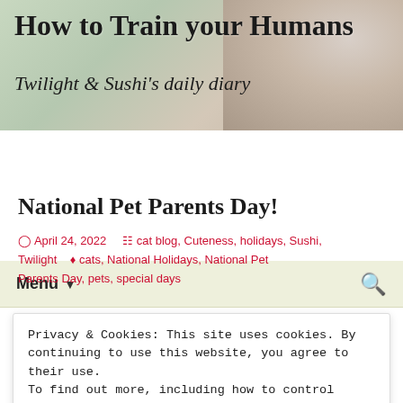How to Train your Humans
Twilight & Sushi's daily diary
National Pet Parents Day!
April 24, 2022   cat blog, Cuteness, holidays, Sushi, Twilight   cats, National Holidays, National Pet Parents Day, pets, special days
[Figure (photo): Cat photo strip partially visible behind cookie consent banner]
Privacy & Cookies: This site uses cookies. By continuing to use this website, you agree to their use.
To find out more, including how to control cookies, see here:
Cookie Policy

Close and accept